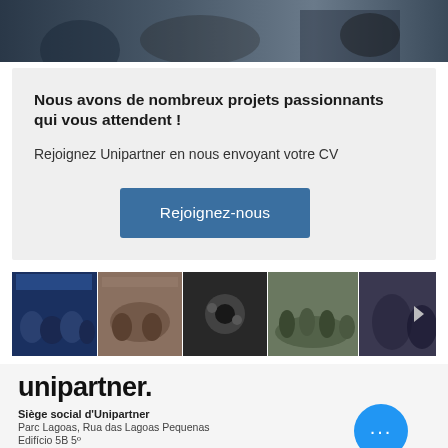[Figure (photo): Top banner photo showing person working, dark/blue tones]
Nous avons de nombreux projets passionnants qui vous attendent !
Rejoignez Unipartner en nous envoyant votre CV
Rejoignez-nous
[Figure (photo): Horizontal gallery strip of company event photos]
[Figure (logo): unipartner. logo in bold black text]
Siège social d'Unipartner
Parc Lagoas, Rua das Lagoas Pequenas
Edifício 5B 5º